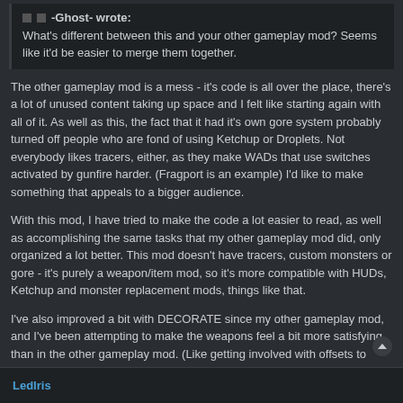-Ghost- wrote: What's different between this and your other gameplay mod? Seems like it'd be easier to merge them together.
The other gameplay mod is a mess - it's code is all over the place, there's a lot of unused content taking up space and I felt like starting again with all of it. As well as this, the fact that it had it's own gore system probably turned off people who are fond of using Ketchup or Droplets. Not everybody likes tracers, either, as they make WADs that use switches activated by gunfire harder. (Fragport is an example) I'd like to make something that appeals to a bigger audience.
With this mod, I have tried to make the code a lot easier to read, as well as accomplishing the same tasks that my other gameplay mod did, only organized a lot better. This mod doesn't have tracers, custom monsters or gore - it's purely a weapon/item mod, so it's more compatible with HUDs, Ketchup and monster replacement mods, things like that.
I've also improved a bit with DECORATE since my other gameplay mod, and I've been attempting to make the weapons feel a bit more satisfying than in the other gameplay mod. (Like getting involved with offsets to make the weapons look much better when firing)
LedIris